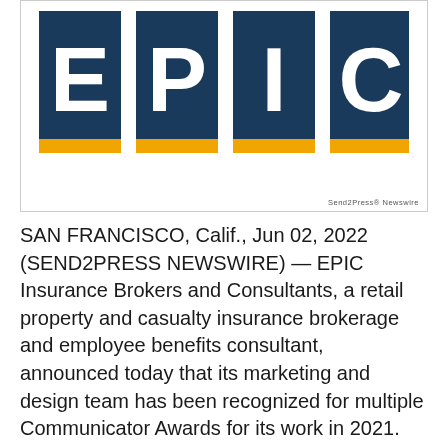[Figure (logo): EPIC Insurance Brokers and Consultants logo — four dark navy square tiles spelling E P I C in white bold letters, each tile with a gold/yellow bar at the bottom, registered trademark symbol top right. Send2Press Newswire watermark in bottom right.]
SAN FRANCISCO, Calif., Jun 02, 2022 (SEND2PRESS NEWSWIRE) — EPIC Insurance Brokers and Consultants, a retail property and casualty insurance brokerage and employee benefits consultant, announced today that its marketing and design team has been recognized for multiple Communicator Awards for its work in 2021. The Communicator